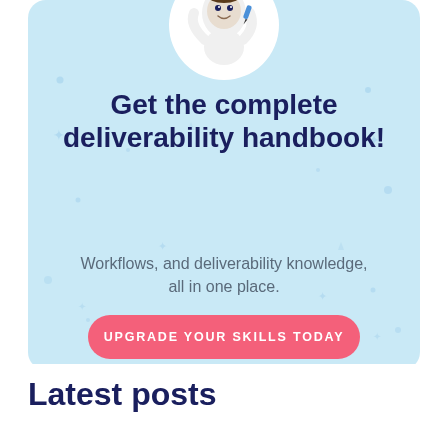[Figure (illustration): Light blue card with rounded corners containing a mascot illustration (cartoon character with hands raised, holding a pen, in a white circle), decorative star/sparkle elements scattered across the background]
Get the complete deliverability handbook!
Workflows, and deliverability knowledge, all in one place.
UPGRADE YOUR SKILLS TODAY
Latest posts